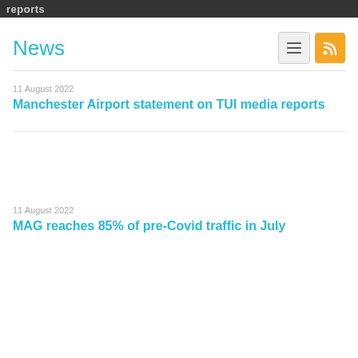reports
News
11 August 2022
Manchester Airport statement on TUI media reports
11 August 2022
MAG reaches 85% of pre-Covid traffic in July